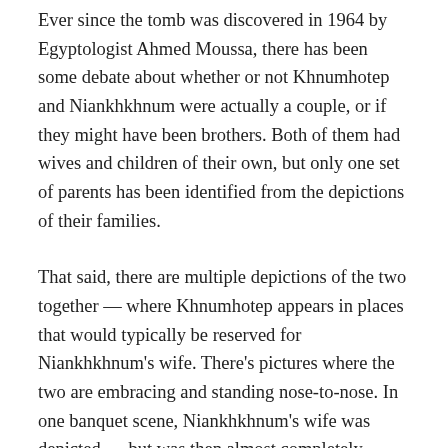Ever since the tomb was discovered in 1964 by Egyptologist Ahmed Moussa, there has been some debate about whether or not Khnumhotep and Niankhkhnum were actually a couple, or if they might have been brothers. Both of them had wives and children of their own, but only one set of parents has been identified from the depictions of their families.
That said, there are multiple depictions of the two together — where Khnumhotep appears in places that would typically be reserved for Niankhkhnum's wife. There's pictures where the two are embracing and standing nose-to-nose. In one banquet scene, Niankhkhnum's wife was depicted — but was then almost completely erased. There are also places where his teachings calling out their...